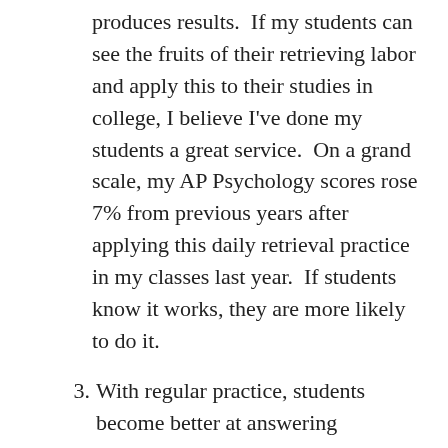produces results.  If my students can see the fruits of their retrieving labor and apply this to their studies in college, I believe I've done my students a great service.  On a grand scale, my AP Psychology scores rose 7% from previous years after applying this daily retrieval practice in my classes last year.  If students know it works, they are more likely to do it.
3. With regular practice, students become better at answering questions.  They better understand how to eliminate incorrect answers and more correctly construct essays.
4. Regular retrieval practice also relieves some test anxiety.  If students are answering questions daily that resemble their end-of-unit assessments, they become more comfortable